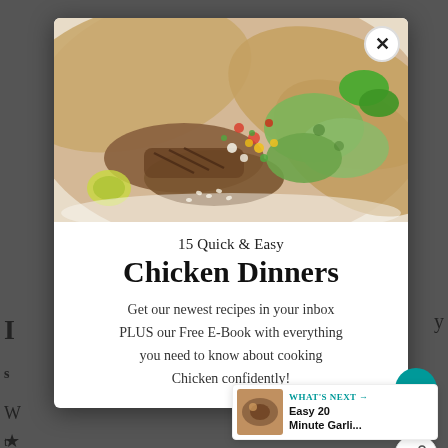[Figure (photo): Close-up food photo of chicken tacos with avocado, salsa, and tortillas on a white background]
15 Quick & Easy
Chicken Dinners
Get our newest recipes in your inbox PLUS our Free E-Book with everything you need to know about cooking Chicken confidently!
WHAT'S NEXT → Easy 20 Minute Garli...